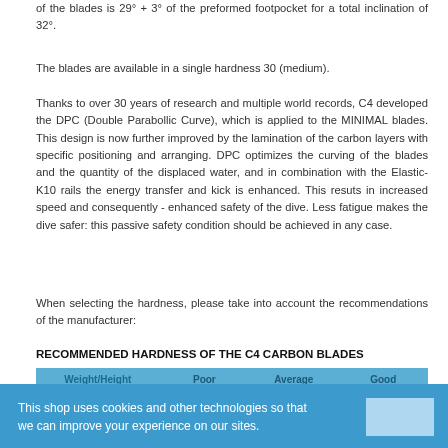of the blades is 29° + 3° of the preformed footpocket for a total inclination of 32°.
The blades are available in a single hardness 30 (medium).
Thanks to over 30 years of research and multiple world records, C4 developed the DPC (Double Parabollic Curve), which is applied to the MINIMAL blades. This design is now further improved by the lamination of the carbon layers with specific positioning and arranging. DPC optimizes the curving of the blades and the quantity of the displaced water, and in combination with the Elastic-K10 rails the energy transfer and kick is enhanced. This resuts in increased speed and consequently - enhanced safety of the dive. Less fatigue makes the dive safer: this passive safety condition should be achieved in any case.
When selecting the hardness, please take into account the recommendations of the manufacturer:
RECOMMENDED HARDNESS OF THE C4 CARBON BLADES
| Weight/Height | Poor fitness | Average fitness | Good fitness |
| --- | --- | --- | --- |
| up to 55 kg / up to |  |  |  |
This shop uses cookies and other technologies so that we can improve your experience on our sites.